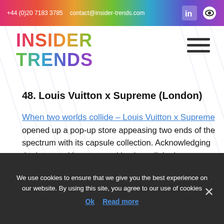+44 (0)20 7183 3785   contact@insider-trends.com
[Figure (logo): Insider Trends logo with rainbow gradient text]
48. Louis Vuitton x Supreme (London)
When two worlds collide – Louis Vuitton x Supreme opened up a pop-up store appeasing two ends of the spectrum with its capsule collection. Acknowledging the hype and buzz caused by the collab, there were rules and restrictions on the front door including iD, security tracks, restrictions on baggage and luggage, no photography and no food and drinks!
We use cookies to ensure that we give you the best experience on our website. By using this site, you agree to our use of cookies
Ok   Read more